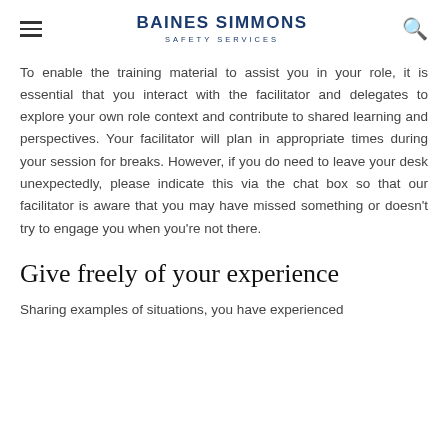BAINES SIMMONS SAFETY SERVICES
To enable the training material to assist you in your role, it is essential that you interact with the facilitator and delegates to explore your own role context and contribute to shared learning and perspectives. Your facilitator will plan in appropriate times during your session for breaks. However, if you do need to leave your desk unexpectedly, please indicate this via the chat box so that our facilitator is aware that you may have missed something or doesn't try to engage you when you're not there.
Give freely of your experience
Sharing examples of situations, you have experienced